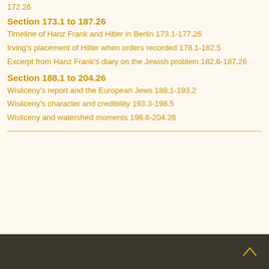172.26
Section 173.1 to 187.26
Timeline of Hanz Frank and Hitler in Berlin 173.1-177.26
Irving's placement of Hitler when orders recorded 178.1-182.5
Excerpt from Hanz Frank's diary on the Jewish problem 182.6-187.26
Section 188.1 to 204.26
Wisliceny's report and the European Jews 188.1-193.2
Wisliceny's character and credibility 193.3-198.5
Wisliceny and watershed moments 198.6-204.26